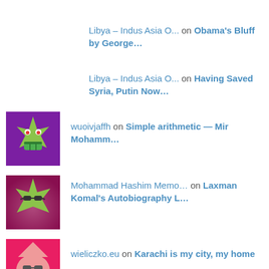Libya – Indus Asia O... on Obama's Bluff by George...
Libya – Indus Asia O... on Having Saved Syria, Putin Now...
wuoivjaffh on Simple arithmetic — Mir Mohamm...
Mohammad Hashim Memo... on Laxman Komal's Autobiography L...
wieliczko.eu on Karachi is my city, my home
waterfallmagazine.co... on Dialects of Sindhi language
Sufi Orders in Pakis... on Who Is Our Hero : Raja Daher o...